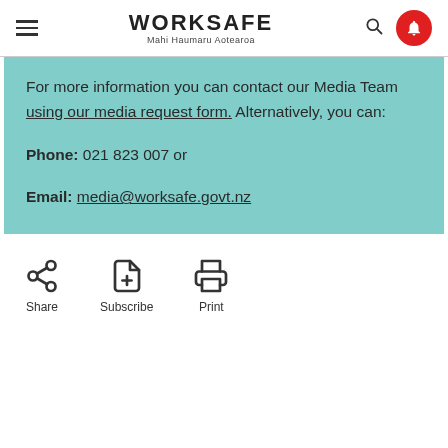WORKSAFE Mahi Haumaru Aotearoa
For more information you can contact our Media Team using our media request form. Alternatively, you can:
Phone: 021 823 007 or
Email: media@worksafe.govt.nz
[Figure (infographic): Three icons: Share (network share icon), Subscribe (document with plus icon), Print (printer icon)]